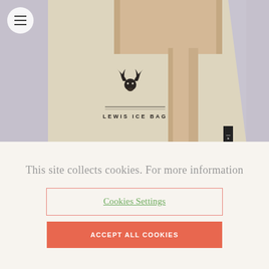[Figure (photo): Product photo showing a wooden ice mallet/muddler resting on a canvas Lewis Ice Bag with a deer antler logo and the text 'LEWIS ICE BAG' stamped on it. Background is light lavender-grey.]
This site collects cookies. For more information
Cookies Settings
ACCEPT ALL COOKIES